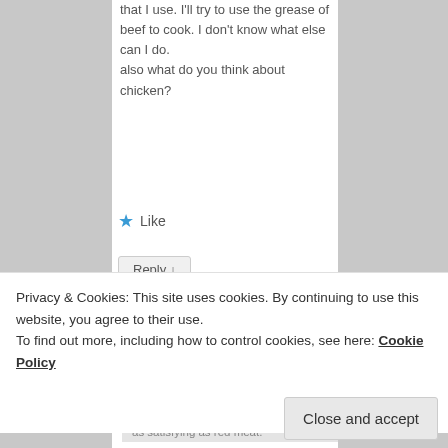that I use. I'll try to use the grease of beef to cook. I don't know what else can I do. also what do you think about chicken?
★ Like
Reply ↓
esmeelafleur on July 12, 2018 at 6:15 PM said:
Privacy & Cookies: This site uses cookies. By continuing to use this website, you agree to their use.
To find out more, including how to control cookies, see here: Cookie Policy
Close and accept
as satisfying as red meat.